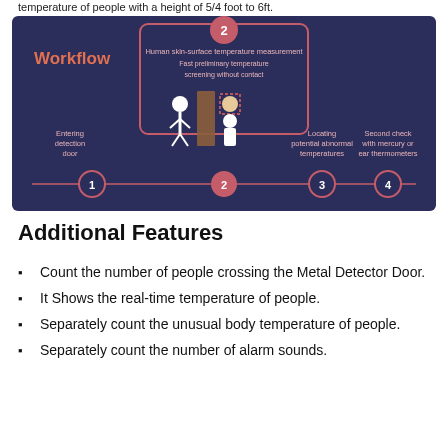temperature of people with a height of 5/4 foot to 6ft.
[Figure (infographic): Workflow infographic on dark navy background showing 4 steps: (1) Entering detection door, (2) Human skin-surface temperature measurement - Fast preliminary temperature screening without contact (shown in highlighted box), (3) Locating potential abnormal temperatures, (4) Second check with mercury or ear thermometers. Steps connected by arrows with numbered circles at bottom.]
Additional Features
Count the number of people crossing the Metal Detector Door.
It Shows the real-time temperature of people.
Separately count the unusual body temperature of people.
Separately count the number of alarm sounds.